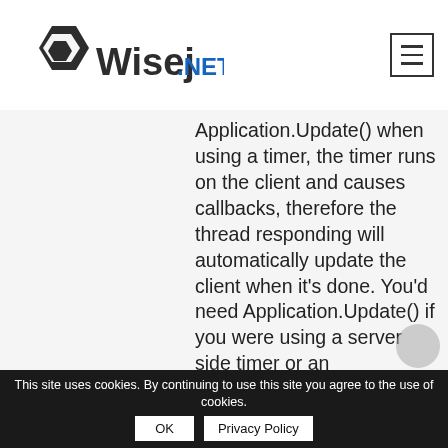Wisej.NET
Application.Update() when using a timer, the timer runs on the client and causes callbacks, therefore the thread responding will automatically update the client when it's done. You'd need Application.Update() if you were using a server side timer or an independent thread or task, which is “out of bound”, meaning not
This site uses cookies. By continuing to use this site you agree to the use of cookies.